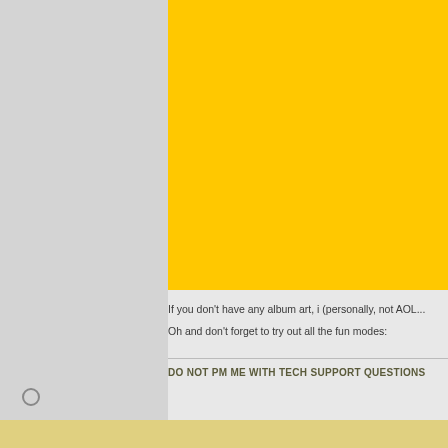[Figure (illustration): Solid yellow rectangle representing album art placeholder]
If you don't have any album art, i (personally, not AOL...
Oh and don't forget to try out all the fun modes:
DO NOT PM ME WITH TECH SUPPORT QUESTIONS